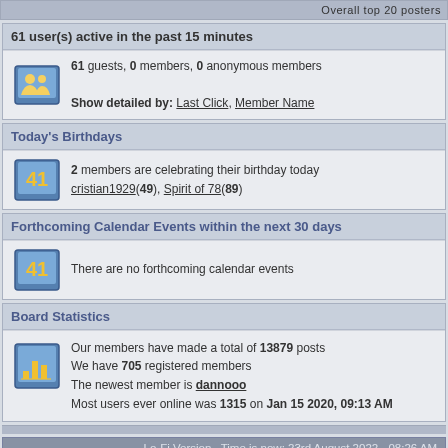Overall top 20 posters
61 user(s) active in the past 15 minutes
61 guests, 0 members, 0 anonymous members
Show detailed by: Last Click, Member Name
Today's Birthdays
2 members are celebrating their birthday today
cristian1929(49), Spirit of 78(89)
Forthcoming Calendar Events within the next 30 days
There are no forthcoming calendar events
Board Statistics
Our members have made a total of 13879 posts
We have 705 registered members
The newest member is dannooo
Most users ever online was 1315 on Jan 15 2020, 09:13 AM
Lo-Fi Version   Time is now: 23rd August 2022 - 08:26 AM
Powered By IP.Board 2.3.6 © 2022  IPS, Inc.
Licensed to: Radio Dismuke